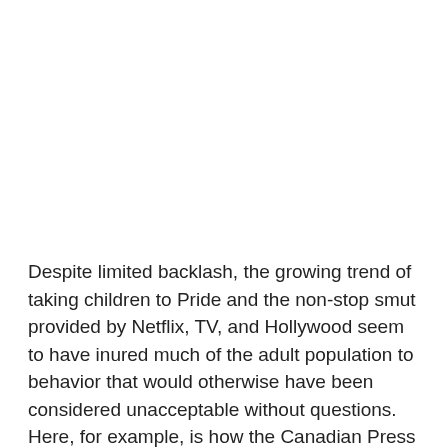Despite limited backlash, the growing trend of taking children to Pride and the non-stop smut provided by Netflix, TV, and Hollywood seem to have inured much of the adult population to behavior that would otherwise have been considered unacceptable without questions. Here, for example, is how the Canadian Press covered the "theatrical world of pre-teen drag queens":